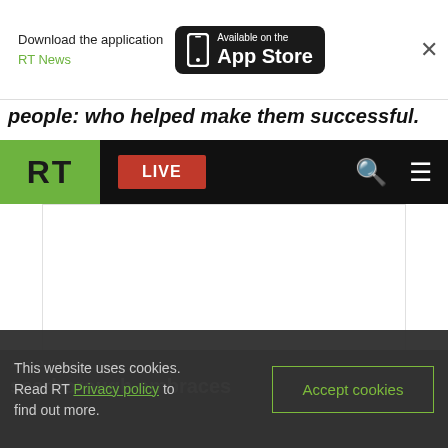[Figure (screenshot): App store download banner for RT News on iPhone App Store]
people: who helped make them successful.
[Figure (screenshot): RT news website navigation bar with green RT logo, red LIVE button, search and menu icons on black background]
[Figure (photo): White blank content/video area placeholder]
ALSO ON RT
scarborough embraces
This website uses cookies. Read RT Privacy policy to find out more.
Accept cookies